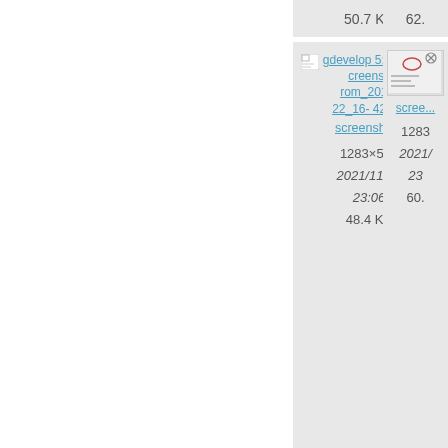50.7 KB    62.
[Figure (screenshot): File card showing broken image icon with link 'gdevelop 5:tutorials:screenshot_from_2019-05-22_16-42-05.png', filename 'screensho...', dimensions 1283x560, date 2021/11/22 23:06, size 48.4 KB]
[Figure (screenshot): File card showing thumbnail image with partial link 'scree...' and partial metadata 1283, 2021/, 23, 60.]
[Figure (screenshot): File card showing broken image icon with link 'gdevelop 5:tutorials:screenshot_from_2019-05-22_17-14-21.png', filename 'screensho...', dimensions 1283x561, date 2021/11/22]
[Figure (screenshot): Partial file card showing broken image icon with partial link 'gd 5:tuto cree rom_ 05-2 19-0' and filename 'scree' and dimension 1283, date 2021/]